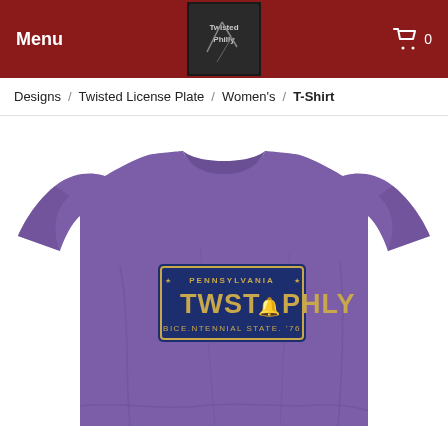Menu | Twisted Philly logo | cart 0
Designs / Twisted License Plate / Women's / T-Shirt
[Figure (photo): Purple women's t-shirt featuring a Pennsylvania license plate design reading 'TWST PHLY' with 'BICENTENNIAL STATE '76' text, displayed on white background]